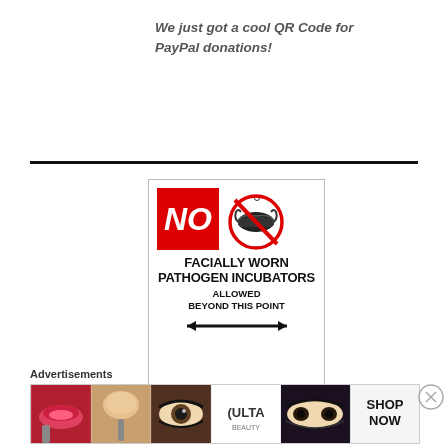We just got a cool QR Code for PayPal donations!
[Figure (illustration): No masks sign: Red 'NO' box on left, red circle with diagonal slash over black face mask on right, text below reads 'FACIALLY WORN PATHOGEN INCUBATORS ALLOWED BEYOND THIS POINT' with a double-headed arrow at bottom]
Advertisements
[Figure (photo): Ulta Beauty advertisement banner with makeup and beauty images: lips with red lipstick, brush with powder, eye with dramatic makeup, Ulta logo, eyes with makeup, and SHOP NOW call to action]